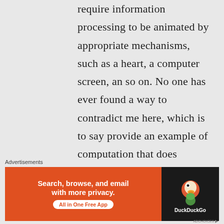require information processing to be animated by appropriate mechanisms, such as a heart, a computer screen, an so on. No one has ever found a way to contradict me here, which is to say provide an example of computation that does something in this world without the animation of appropriate mechanisms. I'd love for more of the status
Advertisements
[Figure (other): DuckDuckGo advertisement banner: orange left section with text 'Search, browse, and email with more privacy. All in One Free App' and dark right section with DuckDuckGo duck logo and brand name.]